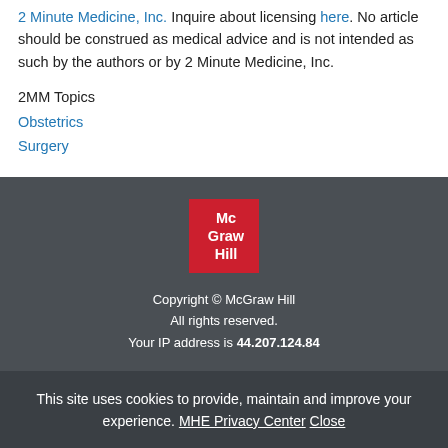2 Minute Medicine, Inc. Inquire about licensing here. No article should be construed as medical advice and is not intended as such by the authors or by 2 Minute Medicine, Inc.
2MM Topics
Obstetrics
Surgery
[Figure (logo): McGraw Hill red logo with white text]
Copyright © McGraw Hill
All rights reserved.
Your IP address is 44.207.124.84
This site uses cookies to provide, maintain and improve your experience. MHE Privacy Center Close